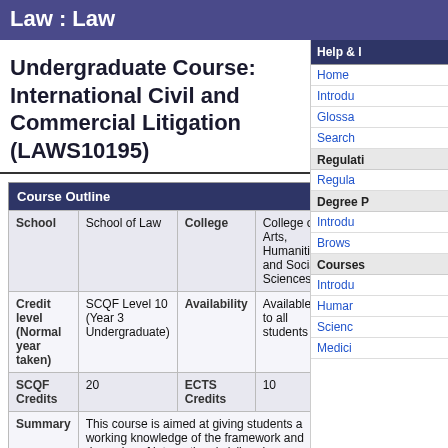Law : Law
Undergraduate Course: International Civil and Commercial Litigation (LAWS10195)
| Course Outline |
| --- |
| School | School of Law | College | College of Arts, Humanities and Social Sciences |
| Credit level (Normal year taken) | SCQF Level 10 (Year 3 Undergraduate) | Availability | Available to all students |
| SCQF Credits | 20 | ECTS Credits | 10 |
| Summary | This course is aimed at giving students a working knowledge of the framework and dynamics of international civil and commercial litigation. The course will consider many of the issues that will need to be addressed by companies and individuals when |  |  |
Help & I
Home
Introdu
Glossa
Search
Regulati
Regula
Degree P
Introdu
Brows
Courses
Introdu
Humar
Scienc
Medici